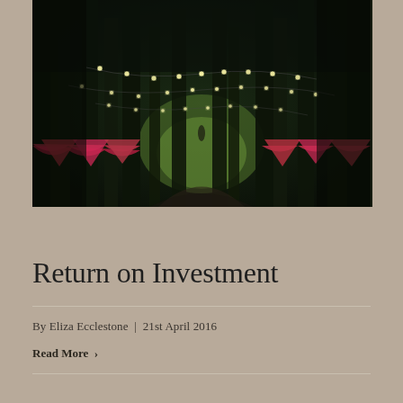[Figure (photo): A dark forest path lined with tall trees, decorated with string lights hanging between the trees and colorful fabric draping. A clearing with green grass is visible at the end of the path.]
Return on Investment
By Eliza Ecclestone | 21st April 2016
Read More >